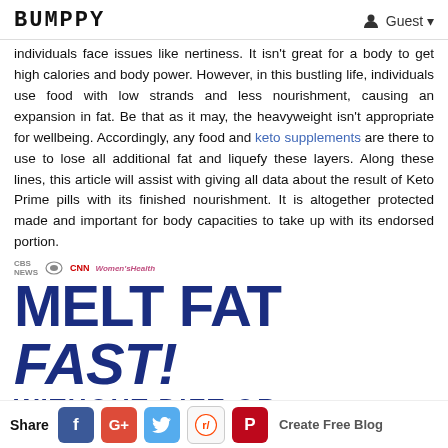BUMPPY | Guest
individuals face issues like nertiness. It isn't great for a body to get high calories and body power. However, in this bustling life, individuals use food with low strands and less nourishment, causing an expansion in fat. Be that as it may, the heavyweight isn't appropriate for wellbeing. Accordingly, any food and keto supplements are there to use to lose all additional fat and liquefy these layers. Along these lines, this article will assist with giving all data about the result of Keto Prime pills with its finished nourishment. It is altogether protected made and important for body capacities to take up with its endorsed portion.
[Figure (illustration): Media logos (CBS News, NBC, CNN, Women's Health) above large text reading MELT FAT FAST! WITHOUT DIET OR EXERCISE]
Share | Facebook | Google+ | Twitter | Reddit | Pinterest | Create Free Blog